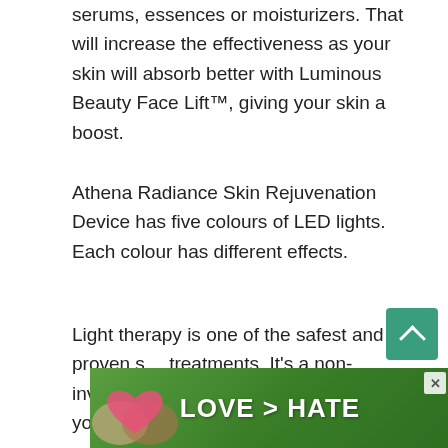serums, essences or moisturizers. That will increase the effectiveness as your skin will absorb better with Luminous Beauty Face Lift™, giving your skin a boost.
Athena Radiance Skin Rejuvenation Device has five colours of LED lights. Each colour has different effects.
Light therapy is one of the safest and proven s... treatments. It's a non-invasive skincare treatm... that will give you the glow.
[Figure (infographic): Advertisement banner with green background showing hands forming a heart shape and text 'LOVE > HATE' with a close button (×) in the top-right corner.]